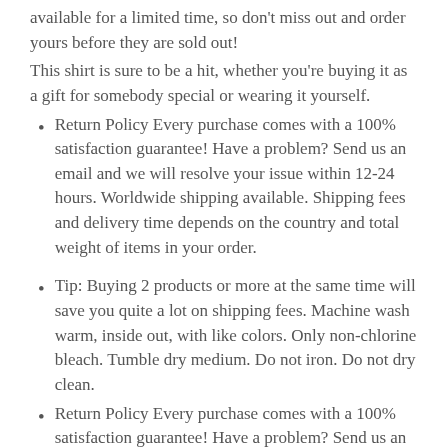available for a limited time, so don't miss out and order yours before they are sold out!
This shirt is sure to be a hit, whether you're buying it as a gift for somebody special or wearing it yourself.
Return Policy Every purchase comes with a 100% satisfaction guarantee! Have a problem? Send us an email and we will resolve your issue within 12-24 hours. Worldwide shipping available. Shipping fees and delivery time depends on the country and total weight of items in your order.
Tip: Buying 2 products or more at the same time will save you quite a lot on shipping fees. Machine wash warm, inside out, with like colors. Only non-chlorine bleach. Tumble dry medium. Do not iron. Do not dry clean.
Return Policy Every purchase comes with a 100% satisfaction guarantee! Have a problem? Send us an email